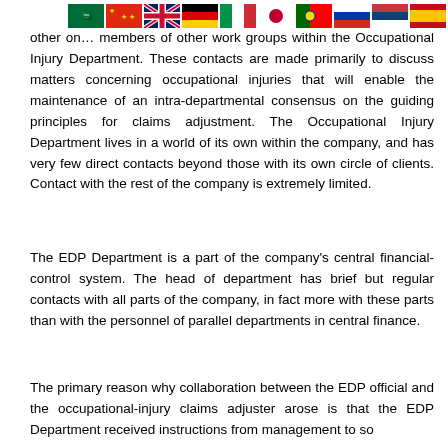[Figure (illustration): Row of country flags: Saudi Arabia, China, UK, Germany, Italy, Japan, Portugal, Russia, Serbia, Spain, Kenya]
other on... members of other work groups within the Occupational Injury Department. These contacts are made primarily to discuss matters concerning occupational injuries that will enable the maintenance of an intra-departmental consensus on the guiding principles for claims adjustment. The Occupational Injury Department lives in a world of its own within the company, and has very few direct contacts beyond those with its own circle of clients. Contact with the rest of the company is extremely limited.
The EDP Department is a part of the company's central financial-control system. The head of department has brief but regular contacts with all parts of the company, in fact more with these parts than with the personnel of parallel departments in central finance.
The primary reason why collaboration between the EDP official and the occupational-injury claims adjuster arose is that the EDP Department received instructions from management to so